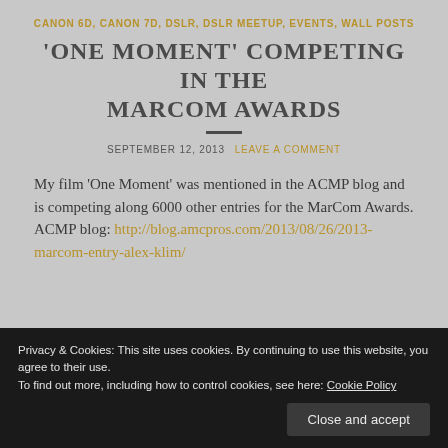CANON 6D, CANON 7D, DSLR, DSLR MEETUP, EVENTS, WALL POSTS
'ONE MOMENT' COMPETING IN THE MARCOM AWARDS
SEPTEMBER 12, 2013   LEAVE A COMMENT
My film 'One Moment' was mentioned in the ACMP blog and is competing along 6000 other entries for the MarCom Awards. ACMP blog: http://blog.amcpros.com/2013/08/26/2013-marcom-entry-alex-klim/
Privacy & Cookies: This site uses cookies. By continuing to use this website, you agree to their use.
To find out more, including how to control cookies, see here: Cookie Policy
Close and accept